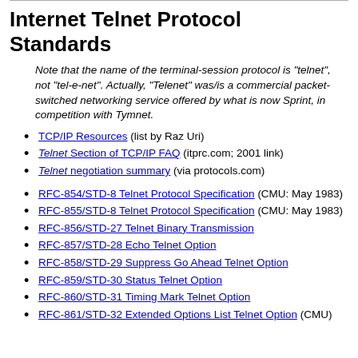Internet Telnet Protocol Standards
Note that the name of the terminal-session protocol is "telnet", not "tel-e-net". Actually, "Telenet" was/is a commercial packet-switched networking service offered by what is now Sprint, in competition with Tymnet.
TCP/IP Resources (list by Raz Uri)
Telnet Section of TCP/IP FAQ (itprc.com; 2001 link)
Telnet negotiation summary (via protocols.com)
RFC-854/STD-8 Telnet Protocol Specification (CMU: May 1983)
RFC-855/STD-8 Telnet Protocol Specification (CMU: May 1983)
RFC-856/STD-27 Telnet Binary Transmission
RFC-857/STD-28 Echo Telnet Option
RFC-858/STD-29 Suppress Go Ahead Telnet Option
RFC-859/STD-30 Status Telnet Option
RFC-860/STD-31 Timing Mark Telnet Option
RFC-861/STD-32 Extended Options List Telnet Option (CMU)